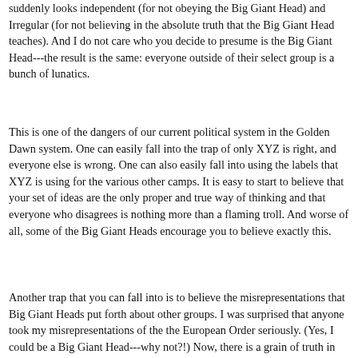suddenly looks independent (for not obeying the Big Giant Head) and Irregular (for not believing in the absolute truth that the Big Giant Head teaches). And I do not care who you decide to presume is the Big Giant Head---the result is the same: everyone outside of their select group is a bunch of lunatics.
This is one of the dangers of our current political system in the Golden Dawn system. One can easily fall into the trap of only XYZ is right, and everyone else is wrong. One can also easily fall into using the labels that XYZ is using for the various other camps. It is easy to start to believe that your set of ideas are the only proper and true way of thinking and that everyone who disagrees is nothing more than a flaming troll. And worse of all, some of the Big Giant Heads encourage you to believe exactly this.
Another trap that you can fall into is to believe the misrepresentations that Big Giant Heads put forth about other groups. I was surprised that anyone took my misrepresentations of the the European Order seriously. (Yes, I could be a Big Giant Head---why not?!) Now, there is a grain of truth in what I said, but I took it to the extreme. The